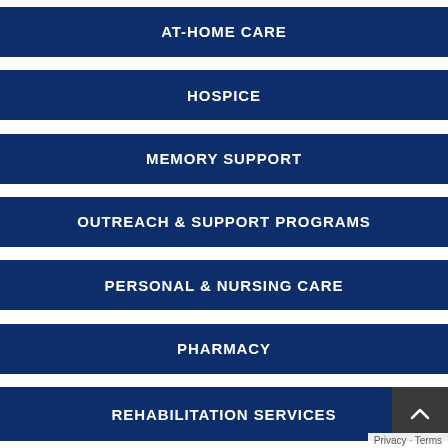AT-HOME CARE
HOSPICE
MEMORY SUPPORT
OUTREACH & SUPPORT PROGRAMS
PERSONAL & NURSING CARE
PHARMACY
REHABILITATION SERVICES
Privacy · Terms